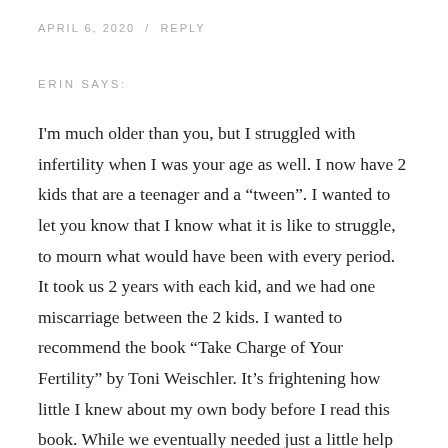APRIL 6, 2020  /  REPLY
ERIN SAYS:
I'm much older than you, but I struggled with infertility when I was your age as well. I now have 2 kids that are a teenager and a “tween”. I wanted to let you know that I know what it is like to struggle, to mourn what would have been with every period. It took us 2 years with each kid, and we had one miscarriage between the 2 kids. I wanted to recommend the book “Take Charge of Your Fertility” by Toni Weischler. It’s frightening how little I knew about my own body before I read this book. While we eventually needed just a little help from a fertility specialist for each of our kids, this book provided the understanding and being able to feel a little more in control over the chaos was so helpful. Plus, thanks to the book, I was able to provide information to the fertility specialist that he needed so I